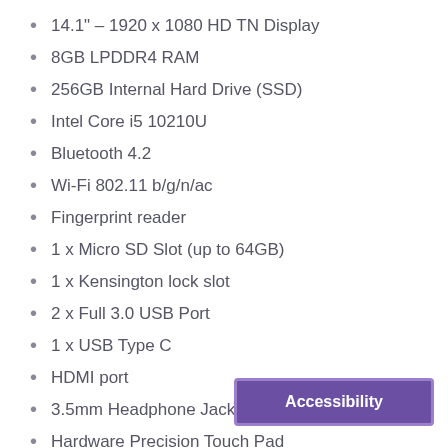14.1" – 1920 x 1080 HD TN Display
8GB LPDDR4 RAM
256GB Internal Hard Drive (SSD)
Intel Core i5 10210U
Bluetooth 4.2
Wi-Fi 802.11 b/g/n/ac
Fingerprint reader
1 x Micro SD Slot (up to 64GB)
1 x Kensington lock slot
2 x Full 3.0 USB Port
1 x USB Type C
HDMI port
3.5mm Headphone Jack/Microphone
Hardware Precision Touch Pad
Internal Dual Speakers
Dual Microphone